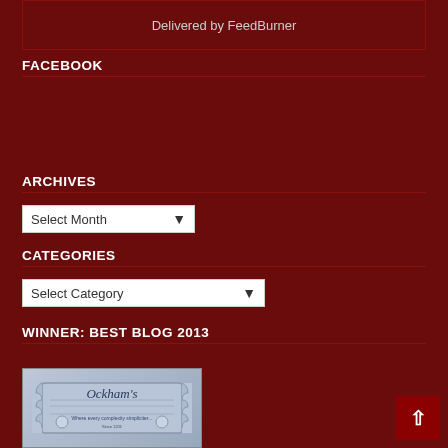Delivered by FeedBurner
FACEBOOK
ARCHIVES
Select Month
CATEGORIES
Select Category
WINNER: BEST BLOG 2013
[Figure (illustration): Ockham's razor blade award badge image - a metallic razor blade with 'Ockham's' written in script, indicating a blog award]